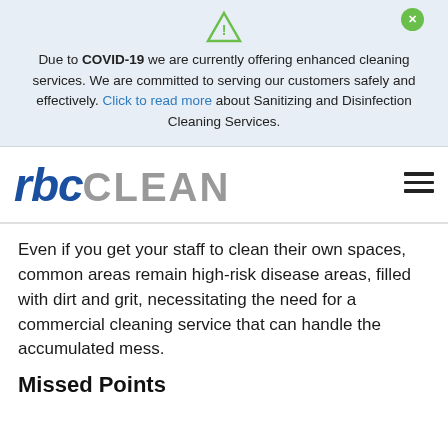Due to COVID-19 we are currently offering enhanced cleaning services. We are committed to serving our customers safely and effectively. Click to read more about Sanitizing and Disinfection Cleaning Services.
[Figure (logo): rbc CLEAN company logo with blue italic 'rbc' and gray 'CLEAN' text]
Even if you get your staff to clean their own spaces, common areas remain high-risk disease areas, filled with dirt and grit, necessitating the need for a commercial cleaning service that can handle the accumulated mess.
Missed Points